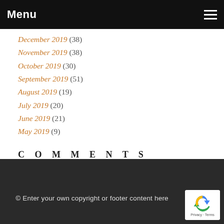Menu
December 2019 (38)
November 2019 (38)
October 2019 (30)
September 2019 (51)
August 2019 (19)
July 2019 (20)
June 2019 (21)
May 2019 (9)
COMMENTS
There are currently no blog comments.
© Enter your own copyright or footer content here